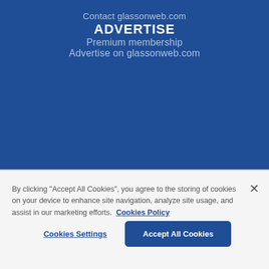Contact glassonweb.com
ADVERTISE
Premium membership
Advertise on glassonweb.com
By clicking "Accept All Cookies", you agree to the storing of cookies on your device to enhance site navigation, analyze site usage, and assist in our marketing efforts.  Cookies Policy